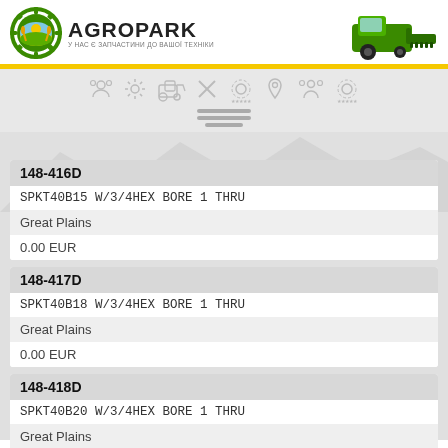[Figure (logo): Agropark logo with gear and wheat icon, green tractor/combine image on the right]
| Field | Value |
| --- | --- |
| Part Number | 148-416D |
| Description | SPKT40B15 W/3/4HEX BORE 1 THRU |
| Brand | Great Plains |
| Price | 0.00 EUR |
| Part Number | 148-417D |
| Description | SPKT40B18 W/3/4HEX BORE 1 THRU |
| Brand | Great Plains |
| Price | 0.00 EUR |
| Part Number | 148-418D |
| Description | SPKT40B20 W/3/4HEX BORE 1 THRU |
| Brand | Great Plains |
| Price | 0.00 EUR |